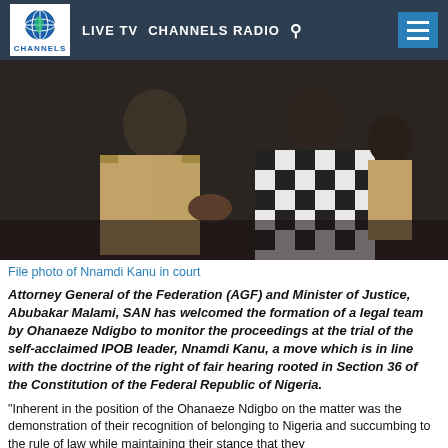LIVE TV  CHANNELS RADIO
[Figure (photo): Two people, one in a khaki uniform appears to be handling the wrists/handcuffs of another man in a black and white checkered shirt, in a dark setting. File photo of Nnamdi Kanu in court.]
File photo of Nnamdi Kanu in court
Attorney General of the Federation (AGF) and Minister of Justice, Abubakar Malami, SAN has welcomed the formation of a legal team by Ohanaeze Ndigbo to monitor the proceedings at the trial of the self-acclaimed IPOB leader, Nnamdi Kanu, a move which is in line with the doctrine of the right of fair hearing rooted in Section 36 of the Constitution of the Federal Republic of Nigeria.
“Inherent in the position of the Ohanaeze Ndigbo on the matter was the demonstration of their recognition of belonging to Nigeria and succumbing to the rule of law while maintaining their stance that they